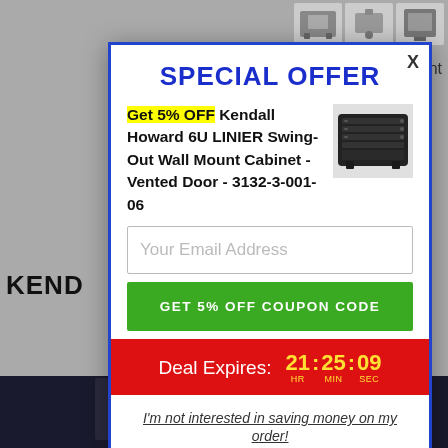SPECIAL OFFER
Get 5% OFF Kendall Howard 6U LINIER Swing-Out Wall Mount Cabinet - Vented Door - 3132-3-001-06
[Figure (photo): Product image of a black wall mount cabinet unit]
Your Email Address
GET 5% OFF COUPON CODE
Deal Expires: 21:25:09 HR MIN SEC
I'm not interested in saving money on my order!